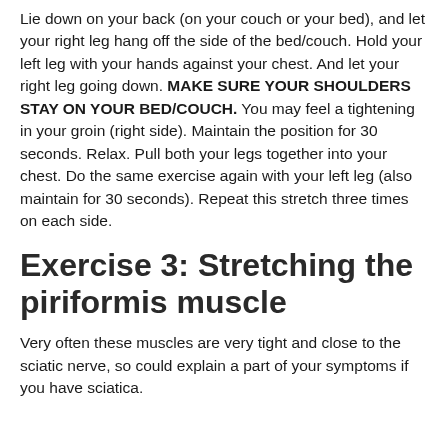Lie down on your back (on your couch or your bed), and let your right leg hang off the side of the bed/couch. Hold your left leg with your hands against your chest. And let your right leg going down. MAKE SURE YOUR SHOULDERS STAY ON YOUR BED/COUCH. You may feel a tightening in your groin (right side). Maintain the position for 30 seconds. Relax. Pull both your legs together into your chest. Do the same exercise again with your left leg (also maintain for 30 seconds). Repeat this stretch three times on each side.
Exercise 3: Stretching the piriformis muscle
Very often these muscles are very tight and close to the sciatic nerve, so could explain a part of your symptoms if you have sciatica.